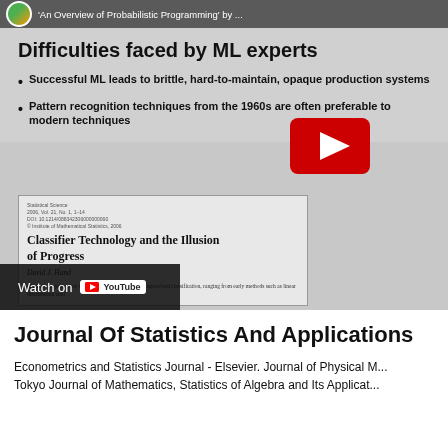[Figure (screenshot): YouTube video thumbnail showing a slide titled 'Difficulties faced by ML experts' with two bullet points and an embedded paper box about 'Classifier Technology and the Illusion of Progress' by David J. Hand, with YouTube play button overlay and 'Watch on YouTube' bar at the bottom.]
Journal Of Statistics And Applications
Econometrics and Statistics Journal - Elsevier. Journal of Physical M... Tokyo Journal of Mathematics, Statistics of Algebra and Its Applicat...